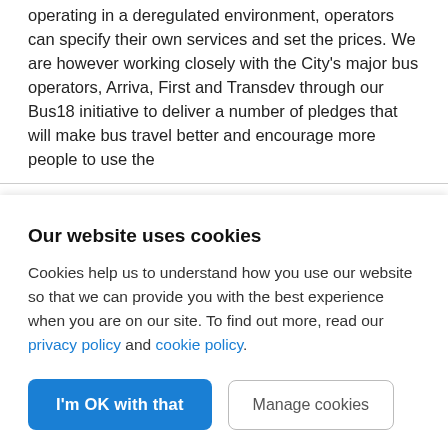operating in a deregulated environment, operators can specify their own services and set the prices. We are however working closely with the City's major bus operators, Arriva, First and Transdev through our Bus18 initiative to deliver a number of pledges that will make bus travel better and encourage more people to use the
Our website uses cookies
Cookies help us to understand how you use our website so that we can provide you with the best experience when you are on our site. To find out more, read our privacy policy and cookie policy.